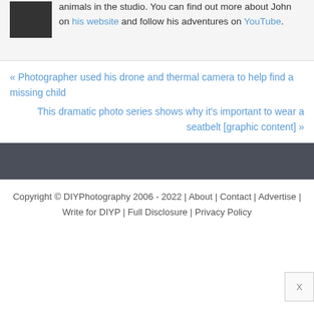animals in the studio. You can find out more about John on his website and follow his adventures on YouTube.
« Photographer used his drone and thermal camera to help find a missing child
This dramatic photo series shows why it's important to wear a seatbelt [graphic content] »
Copyright © DIYPhotography 2006 - 2022 | About | Contact | Advertise | Write for DIYP | Full Disclosure | Privacy Policy